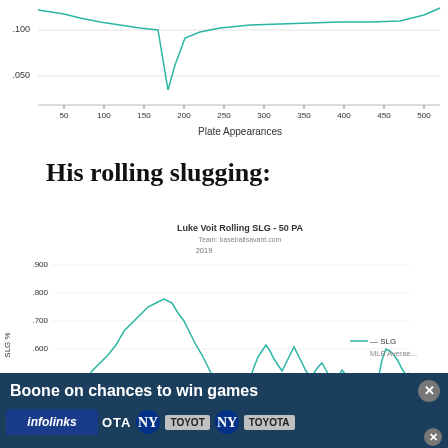[Figure (continuous-plot): Top portion of a continuous line chart showing plate appearances (x-axis, 50-510) vs some baseball stat (y-axis showing .050 and .100 visible). A teal/cyan line dips sharply around PA=170. X-axis label: Plate Appearances.]
His rolling slugging:
[Figure (continuous-plot): Line chart titled 'Luke Voit Rolling SLG - 50 PA'. Y-axis labeled 'SLG %' ranging from .300 to .900. X-axis shows plate appearances. Two lines: SLG (teal/cyan) and MLB Average (red horizontal line near .400). The SLG line peaks near .800 early, fluctuates, with a red horizontal reference line around .400. Legend shows SLG and MLB Average. A video ad overlay partially obscures the chart.]
[Figure (screenshot): A video ad overlay with dark teal background. Title: 'Boone on chances to win games'. Close button (X) in top right. Below: logos including NY Yankees logo, Toyota logo repeated multiple times across a dark background. Bottom left: infolinks badge.]